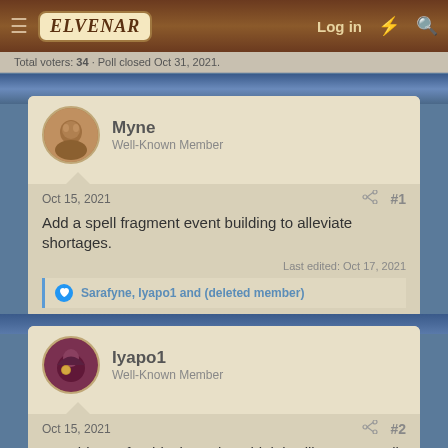Elvenar · Log in
Total voters: 34 · Poll closed Oct 31, 2021.
Myne
Well-Known Member
Oct 15, 2021 #1
Add a spell fragment event building to alleviate shortages.
Last edited: Oct 17, 2021
Sarafyne, Iyapo1 and (deleted member)
Iyapo1
Well-Known Member
Oct 15, 2021 #2
I would vote for this, but I dont think it will go over well with advanced players who have/had moonstone boneyards or